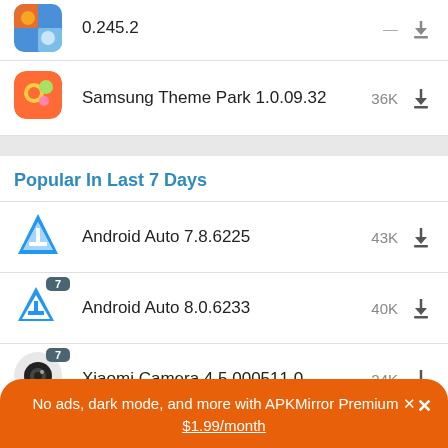0.245.2
Samsung Theme Park 1.0.09.32 — 36K
Popular In Last 7 Days
Android Auto 7.8.6225 — 43K
Android Auto 8.0.6233 — 40K
Xiaomi Camera 4.5.000511.0 — 24K
No ads, dark mode, and more with APKMirror Premium × $1.99/month